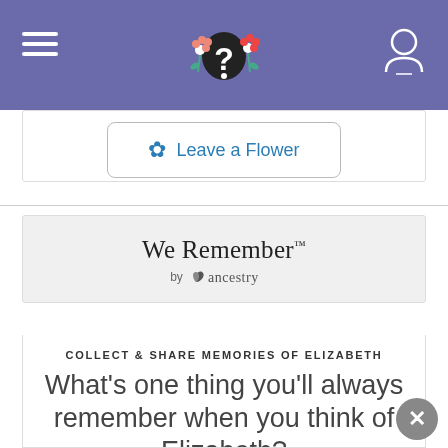Navigation header with hamburger menu, flower logo with question mark, and user account icon
[Figure (illustration): Floral question mark logo in center of purple header bar]
Leave a Flower
[Figure (logo): We Remember by ancestry logo — serif text 'We Remember™' above 'by ancestry' with ancestry leaf icon]
COLLECT & SHARE MEMORIES OF ELIZABETH
What's one thing you'll always remember when you think of Elizabeth?